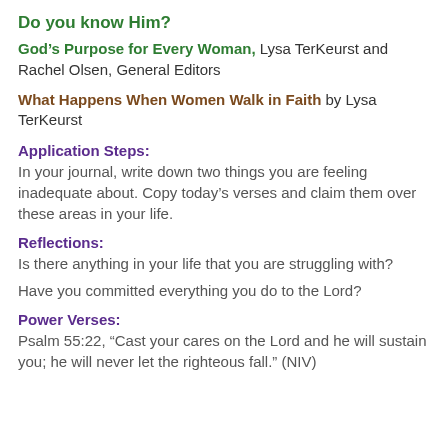Do you know Him?
God's Purpose for Every Woman, Lysa TerKeurst and Rachel Olsen, General Editors
What Happens When Women Walk in Faith by Lysa TerKeurst
Application Steps:
In your journal, write down two things you are feeling inadequate about. Copy today's verses and claim them over these areas in your life.
Reflections:
Is there anything in your life that you are struggling with?
Have you committed everything you do to the Lord?
Power Verses:
Psalm 55:22, “Cast your cares on the Lord and he will sustain you; he will never let the righteous fall.” (NIV)